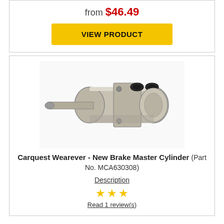from $46.49
VIEW PRODUCT
[Figure (photo): Photo of a Carquest Wearever New Brake Master Cylinder, a metal cylindrical automotive part with mounting flange and two fluid ports on top.]
Carquest Wearever - New Brake Master Cylinder (Part No. MCA630308)
Description
Read 1 review(s)